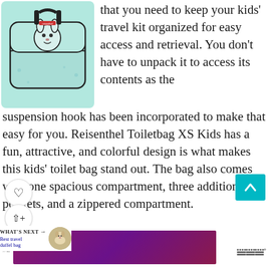[Figure (photo): Mint/teal colored Reisenthel Toiletbag XS Kids with a cute rabbit/dog face embroidered on it, shown with a black strap]
that you need to keep your kids' travel kit organized for easy access and retrieval. You don't have to unpack it to access its contents as the suspension hook has been incorporated to make that easy for you. Reisenthel Toiletbag XS Kids has a fun, attractive, and colorful design is what makes this kids' toilet bag stand out. The bag also comes with one spacious compartment, three additional pockets, and a zippered compartment.
[Figure (photo): Small dog photo in circular thumbnail used for 'What's Next: Best travel duffel bag' navigation element]
[Figure (other): Purple/magenta gradient banner at the bottom of the page]